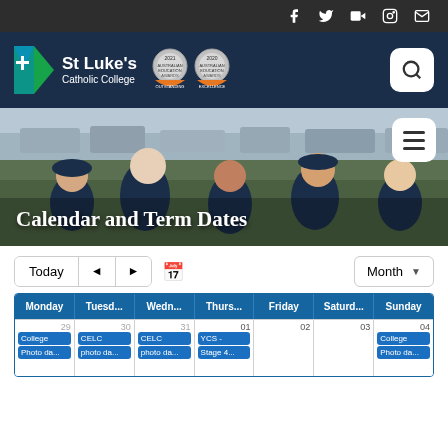Social icons: Facebook, Twitter, YouTube, Instagram, Email
[Figure (logo): St Luke's Catholic College logo with school name and 2021/2020 Australian Education Awards badges]
[Figure (photo): Group of primary school students in navy uniforms smiling outdoors on a sports field with cars in background]
Calendar and Term Dates
Calendar navigation controls: Today, back arrow, forward arrow, calendar icon, Month dropdown
| Monday | Tuesd... | Wedn... | Thurs... | Friday | Saturd... | Sunday |
| --- | --- | --- | --- | --- | --- | --- |
| 29
College
Photo da... | 30
CELC
photo da... | 31
CELC
photo da... | 01
YCS -
Stage 4... | 02 | 03 | 04
College
Photo da... |